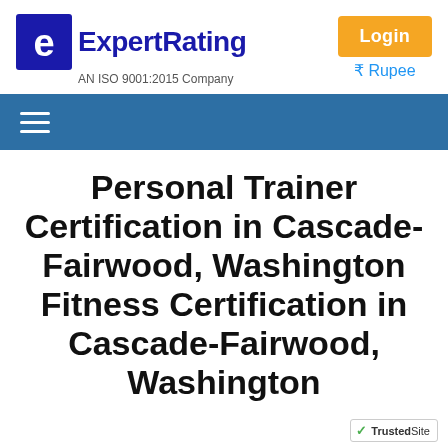[Figure (logo): ExpertRating logo with blue X/E icon and text 'ExpertRating', subtitle 'AN ISO 9001:2015 Company']
Login
₹ Rupee
[Figure (other): Navigation bar with hamburger menu icon on blue background]
Personal Trainer Certification in Cascade-Fairwood, Washington Fitness Certification in Cascade-Fairwood, Washington
[Figure (other): TrustedSite badge with green checkmark]